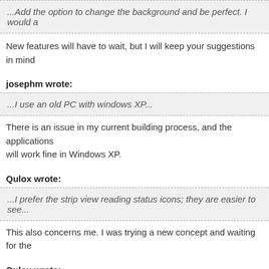...Add the option to change the background and be perfect. I would a
New features will have to wait, but I will keep your suggestions in mind...
josephm wrote:
...I use an old PC with windows XP...
There is an issue in my current building process, and the applications will work fine in Windows XP.
Qulox wrote:
...I prefer the strip view reading status icons; they are easier to see...
This also concerns me. I was trying a new concept and waiting for the
Qulox wrote:
When I move the position of the reading list...
Yep, I am not saving this in the preferences....
Qulox wrote:
I need to be more careful before carrying with at deletion the...